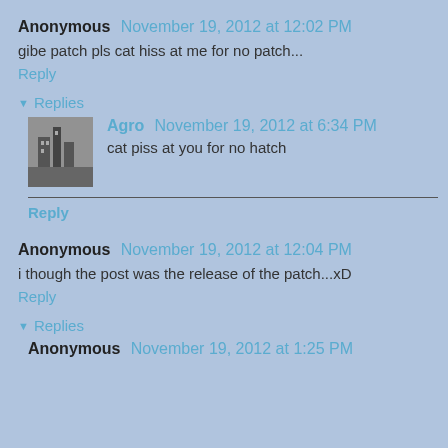Anonymous November 19, 2012 at 12:02 PM
gibe patch pls cat hiss at me for no patch...
Reply
Replies
Agro November 19, 2012 at 6:34 PM
cat piss at you for no hatch
Reply
Anonymous November 19, 2012 at 12:04 PM
i though the post was the release of the patch...xD
Reply
Replies
Anonymous November 19, 2012 at 1:25 PM